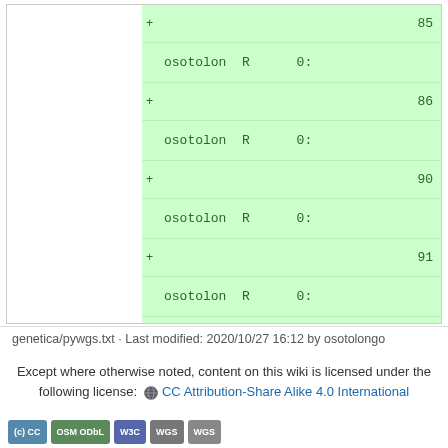[Figure (screenshot): Code diff view showing added lines with green background. Lines show entries with '+' prefix, numbers 85, 86, 90, 91, 92, 93, text 'osotolon R 0:' and final '+</code>' and '+' lines.]
genetica/pywgs.txt · Last modified: 2020/10/27 16:12 by osotolongo
Except where otherwise noted, content on this wiki is licensed under the following license: CC Attribution-Share Alike 4.0 International